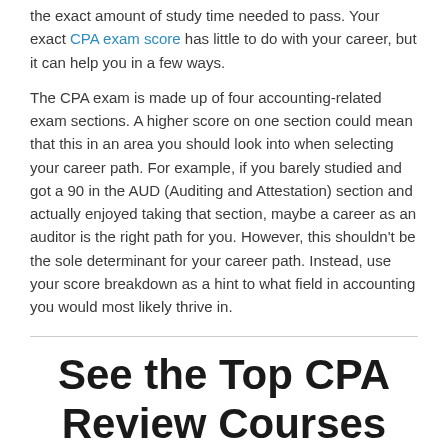the exact amount of study time needed to pass. Your exact CPA exam score has little to do with your career, but it can help you in a few ways.
The CPA exam is made up of four accounting-related exam sections. A higher score on one section could mean that this in an area you should look into when selecting your career path. For example, if you barely studied and got a 90 in the AUD (Auditing and Attestation) section and actually enjoyed taking that section, maybe a career as an auditor is the right path for you. However, this shouldn't be the sole determinant for your career path. Instead, use your score breakdown as a hint to what field in accounting you would most likely thrive in.
See the Top CPA Review Courses